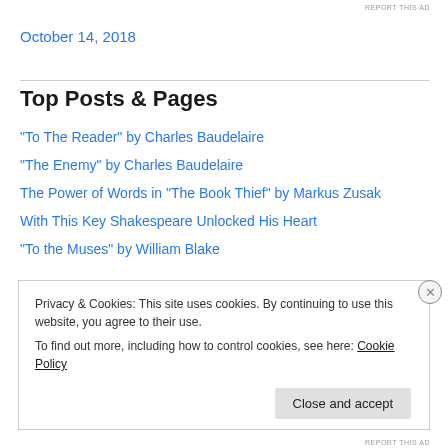REPORT THIS AD
October 14, 2018
Top Posts & Pages
"To The Reader" by Charles Baudelaire
"The Enemy" by Charles Baudelaire
The Power of Words in "The Book Thief" by Markus Zusak
With This Key Shakespeare Unlocked His Heart
"To the Muses" by William Blake
Privacy & Cookies: This site uses cookies. By continuing to use this website, you agree to their use.
To find out more, including how to control cookies, see here: Cookie Policy
Close and accept
REPORT THIS AD